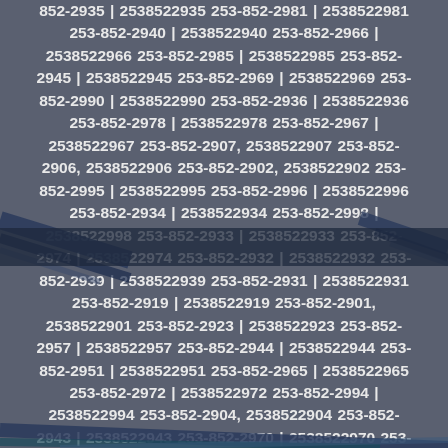852-2935 | 2538522935 253-852-2981 | 2538522981 253-852-2940 | 2538522940 253-852-2966 | 2538522966 253-852-2985 | 2538522985 253-852-2945 | 2538522945 253-852-2969 | 2538522969 253-852-2990 | 2538522990 253-852-2936 | 2538522936 253-852-2978 | 2538522978 253-852-2967 | 2538522967 253-852-2907, 2538522907 253-852-2906, 2538522906 253-852-2902, 2538522902 253-852-2995 | 2538522995 253-852-2996 | 2538522996 253-852-2934 | 2538522934 253-852-2998 | 2538522998 253-852-2933 | 2538522933 253-852-2974 | 2538522974 253-852-2932 | 2538522932 253-852-2939 | 2538522939 253-852-2931 | 2538522931 253-852-2919 | 2538522919 253-852-2901, 2538522901 253-852-2923 | 2538522923 253-852-2957 | 2538522957 253-852-2944 | 2538522944 253-852-2951 | 2538522951 253-852-2965 | 2538522965 253-852-2972 | 2538522972 253-852-2994 | 2538522994 253-852-2904, 2538522904 253-852-2943 | 2538522943 253-852-2970 | 2538522970 253-852-2947 | 2538522947 253-852-2926 | 2538522926 253-852-2905, 2538522905 253-852-2903, 2538522903 253-852-2946 | 2538522946 253-852-2908, 2538522908 253-852-2984 | 2538522984 253-852-2991 | 2538522991 253-852-2914 | 2538522914